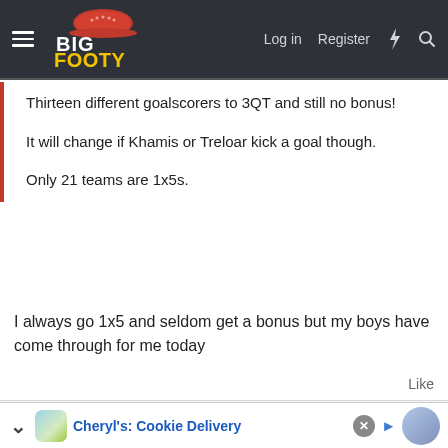BigFooty — Log in  Register
Thirteen different goalscorers to 3QT and still no bonus!

It will change if Khamis or Treloar kick a goal though.

Only 21 teams are 1x5s.
I always go 1x5 and seldom get a bonus but my boys have come through for me today
Like
dogwatch
Cheryl's: Cookie Delivery